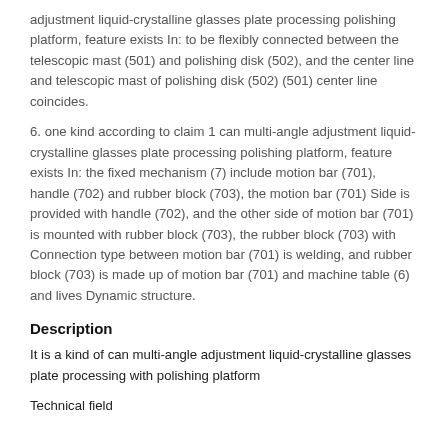adjustment liquid-crystalline glasses plate processing polishing platform, feature exists In: to be flexibly connected between the telescopic mast (501) and polishing disk (502), and the center line and telescopic mast of polishing disk (502) (501) center line coincides.
6. one kind according to claim 1 can multi-angle adjustment liquid-crystalline glasses plate processing polishing platform, feature exists In: the fixed mechanism (7) include motion bar (701), handle (702) and rubber block (703), the motion bar (701) Side is provided with handle (702), and the other side of motion bar (701) is mounted with rubber block (703), the rubber block (703) with Connection type between motion bar (701) is welding, and rubber block (703) is made up of motion bar (701) and machine table (6) and lives Dynamic structure.
Description
It is a kind of can multi-angle adjustment liquid-crystalline glasses plate processing with polishing platform
Technical field